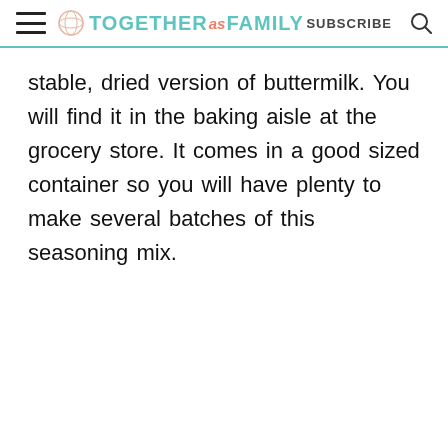TOGETHER as FAMILY | SUBSCRIBE
stable, dried version of buttermilk. You will find it in the baking aisle at the grocery store. It comes in a good sized container so you will have plenty to make several batches of this seasoning mix.